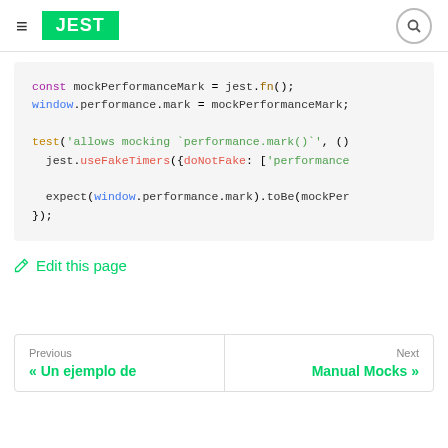JEST
[Figure (screenshot): Code block showing Jest mock performance mark test snippet with syntax highlighting]
Edit this page
Previous: « Un ejemplo de
Next: Manual Mocks »